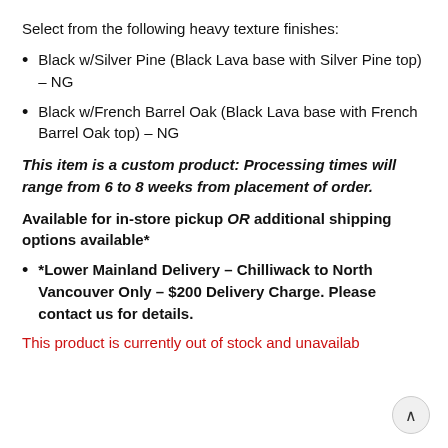Select from the following heavy texture finishes:
Black w/Silver Pine (Black Lava base with Silver Pine top) – NG
Black w/French Barrel Oak (Black Lava base with French Barrel Oak top) – NG
This item is a custom product: Processing times will range from 6 to 8 weeks from placement of order.
Available for in-store pickup OR additional shipping options available*
*Lower Mainland Delivery – Chilliwack to North Vancouver Only – $200 Delivery Charge. Please contact us for details.
This product is currently out of stock and unavailab